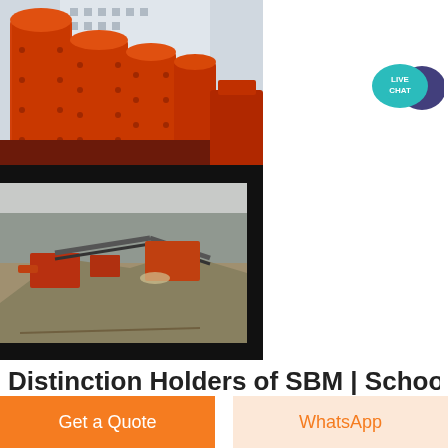[Figure (photo): Orange industrial ball mills or grinding equipment lined up outdoors in front of a building with Chinese signage]
[Figure (photo): Mining or quarrying site with industrial crushing and conveyor equipment processing aggregates outdoors]
[Figure (illustration): Live Chat speech bubble icon in teal/dark blue colors with text LIVE CHAT]
Distinction Holders of SBM | School
Get a Quote
WhatsApp